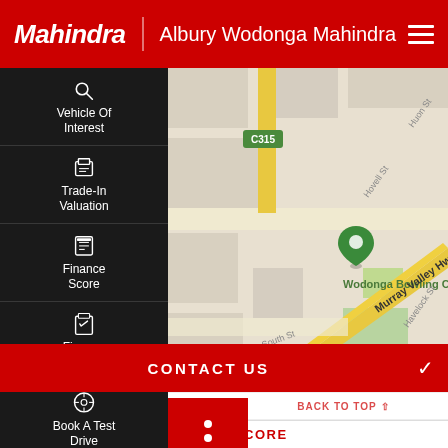Mahindra | Albury Wodonga Mahindra
[Figure (screenshot): Mobile app sidebar with navigation icons: Vehicle Of Interest (search icon), Trade-In Valuation (calculator icon), Finance Score (list icon), Finance Enquiry (clipboard icon), Book A Test Drive (steering wheel icon). Dark background with white text and icons.]
[Figure (map): Street map showing Wodonga area with Murray Valley Hwy highlighted in yellow, South St, Hovell St, Huon St, Havelock St, C315 road marker, Wodonga Bowling Club label, and a green map pin marker.]
SHARE
CONTACT US
BACK TO RESULTS
BACK TO TOP
FINANCE SCORE